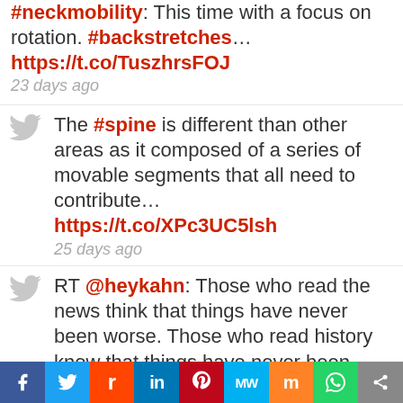#neckmobility: This time with a focus on rotation. #backstretches... https://t.co/TuszhrsFOJ 23 days ago
The #spine is different than other areas as it composed of a series of movable segments that all need to contribute... https://t.co/XPc3UC5Ish 25 days ago
RT @heykahn: Those who read the news think that things have never been worse. Those who read history know that things have never been bett... 25 days ago
#exercise is essential for #backpain. This can be challenging with acute injury or when all movements seem painful.... https://t.co/DOZh86sOgU
f  Twitter  Reddit  in  Pinterest  MW  Mix  WhatsApp  Share